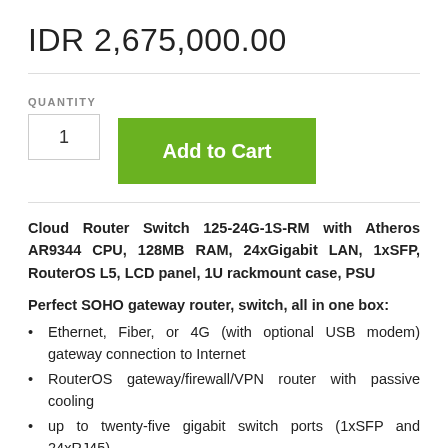IDR 2,675,000.00
Cloud Router Switch 125-24G-1S-RM with Atheros AR9344 CPU, 128MB RAM, 24xGigabit LAN, 1xSFP, RouterOS L5, LCD panel, 1U rackmount case, PSU
Perfect SOHO gateway router, switch, all in one box:
Ethernet, Fiber, or 4G (with optional USB modem) gateway connection to Internet
RouterOS gateway/firewall/VPN router with passive cooling
up to twenty-five gigabit switch ports (1xSFP and 24xRJ45)